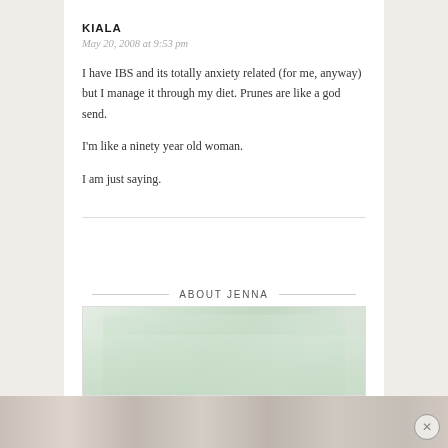KIALA
May 20, 2008 at 9:53 pm
I have IBS and its totally anxiety related (for me, anyway) but I manage it through my diet. Prunes are like a god send.
I’m like a ninety year old woman.
I am just saying.
ABOUT JENNA
[Figure (photo): Partially visible photo of a person, used as an 'About Jenna' profile image]